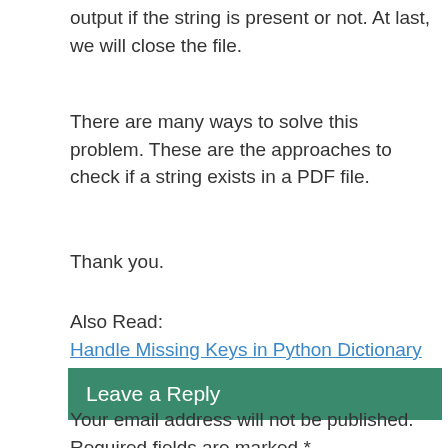output if the string is present or not. At last, we will close the file.
There are many ways to solve this problem. These are the approaches to check if a string exists in a PDF file.
Thank you.
Also Read:
Handle Missing Keys in Python Dictionary
Leave a Reply
Your email address will not be published. Required fields are marked *